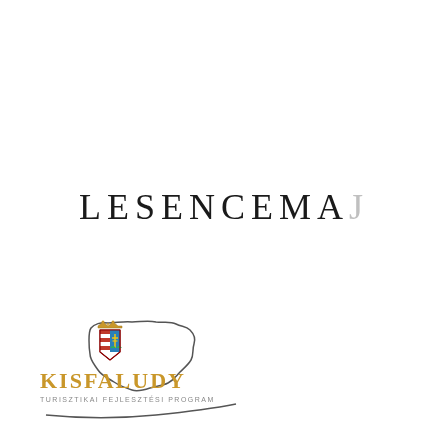LESENCEMAJ
[Figure (logo): Kisfaludy Turisztikai Fejlesztési Program logo with Hungarian coat of arms shield and outline map of Hungary. Text reads KISFALUDY in gold uppercase letters and TURISZTIKAI FEJLESZTÉSI PROGRAM in smaller letters below.]